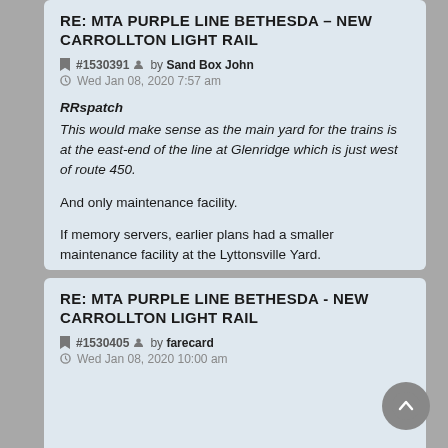RE: MTA PURPLE LINE BETHESDA - NEW CARROLLTON LIGHT RAIL
#1530391 by Sand Box John
Wed Jan 08, 2020 7:57 am
RRspatch
This would make sense as the main yard for the trains is at the east-end of the line at Glenridge which is just west of route 450.

And only maintenance facility.

If memory servers, earlier plans had a smaller maintenance facility at the Lyttonsville Yard.
RE: MTA PURPLE LINE BETHESDA - NEW CARROLLTON LIGHT RAIL
#1530405 by farecard
Wed Jan 08, 2020 10:00 am